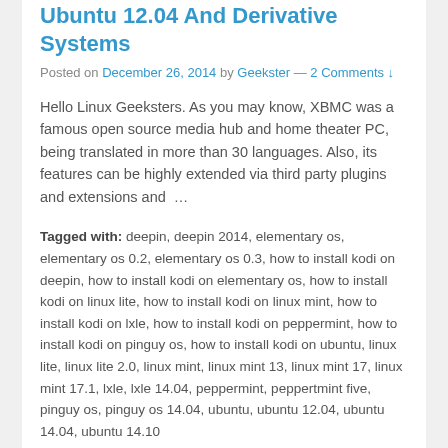Ubuntu 12.04 And Derivative Systems
Posted on December 26, 2014 by Geekster — 2 Comments ↓
Hello Linux Geeksters. As you may know, XBMC was a famous open source media hub and home theater PC, being translated in more than 30 languages. Also, its features can be highly extended via third party plugins and extensions and …
Tagged with: deepin, deepin 2014, elementary os, elementary os 0.2, elementary os 0.3, how to install kodi on deepin, how to install kodi on elementary os, how to install kodi on linux lite, how to install kodi on linux mint, how to install kodi on lxle, how to install kodi on peppermint, how to install kodi on pinguy os, how to install kodi on ubuntu, linux lite, linux lite 2.0, linux mint, linux mint 13, linux mint 17, linux mint 17.1, lxle, lxle 14.04, peppermint, peppertmint five, pinguy os, pinguy os 14.04, ubuntu, ubuntu 12.04, ubuntu 14.04, ubuntu 14.10
Posted in The Linux and Unix Articles!